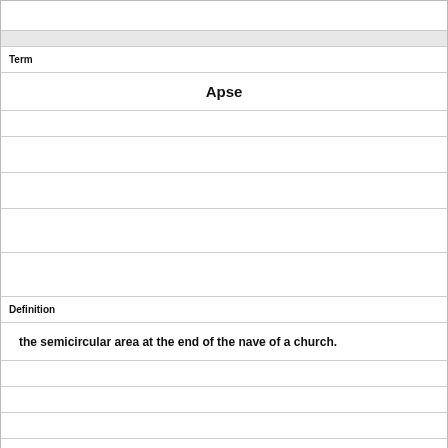Term
Apse
Definition
the semicircular area at the end of the nave of a church.